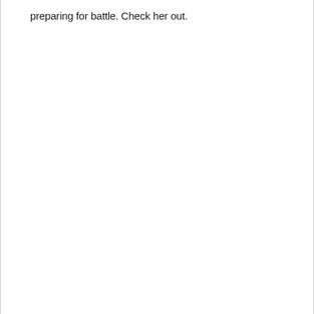preparing for battle. Check her out.